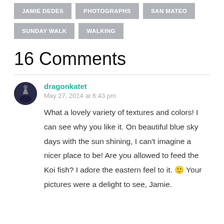JAMIE DEDES
PHOTOGRAPHS
SAN MATEO
SUNDAY WALK
WALKING
16 Comments
dragonkatet
May 27, 2014 at 6:43 pm

What a lovely variety of textures and colors! I can see why you like it. On beautiful blue sky days with the sun shining, I can't imagine a nicer place to be! Are you allowed to feed the Koi fish? I adore the eastern feel to it. 🙂 Your pictures were a delight to see, Jamie.